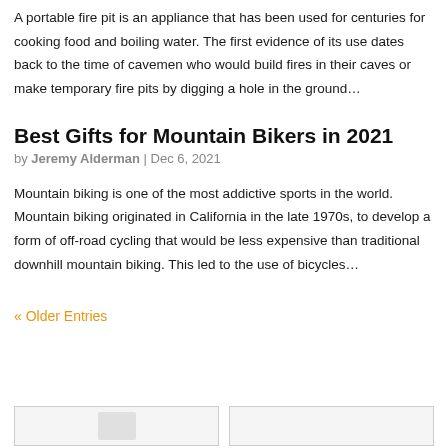A portable fire pit is an appliance that has been used for centuries for cooking food and boiling water. The first evidence of its use dates back to the time of cavemen who would build fires in their caves or make temporary fire pits by digging a hole in the ground...
Best Gifts for Mountain Bikers in 2021
by Jeremy Alderman | Dec 6, 2021
Mountain biking is one of the most addictive sports in the world. Mountain biking originated in California in the late 1970s, to develop a form of off-road cycling that would be less expensive than traditional downhill mountain biking. This led to the use of bicycles...
« Older Entries
[Figure (photo): Two image placeholders at the bottom of the page]